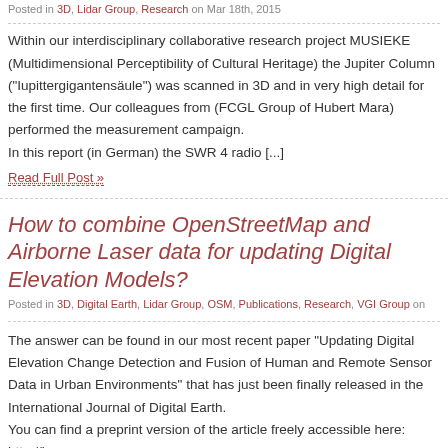Posted in 3D, Lidar Group, Research on Mar 18th, 2015
Within our interdisciplinary collaborative research project MUSIEKE (Multidimensional Perceptibility of Cultural Heritage) the Jupiter Column ("Iupittergigantensäule") was scanned in 3D and in very high detail for the first time. Our colleagues from (FCGL Group of Hubert Mara) performed the measurement campaign.
In this report (in German) the SWR 4 radio [...]
Read Full Post »
How to combine OpenStreetMap and Airborne Laser data for updating Digital Elevation Models?
Posted in 3D, Digital Earth, Lidar Group, OSM, Publications, Research, VGI Group on
The answer can be found in our most recent paper "Updating Digital Elevation Models by Change Detection and Fusion of Human and Remote Sensor Data in Urban Environments" that has just been finally released in the International Journal of Digital Earth. You can find a preprint version of the article freely accessible here: http://koenigstuhl.geog.uni-heidelberg.de/publications/2015/Hoefle/Klonner_et_al_2015_preprint.pdf
Citation